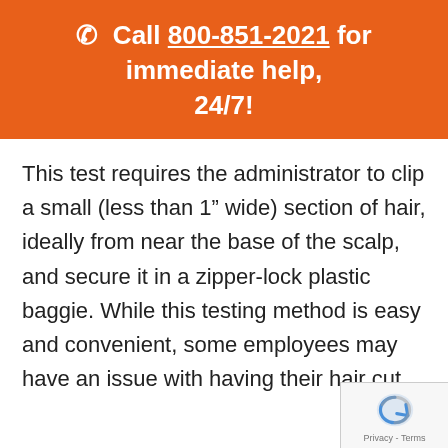Call 800-851-2021 for immediate help, 24/7!
This test requires the administrator to clip a small (less than 1" wide) section of hair, ideally from near the base of the scalp, and secure it in a zipper-lock plastic baggie. While this testing method is easy and convenient, some employees may have an issue with having their hair cut.